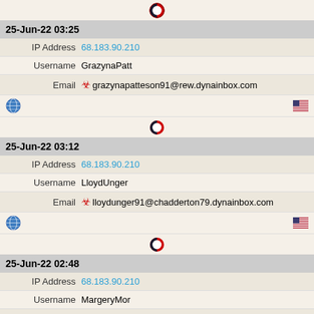[Figure (infographic): Browser icon (Opera-style O logo) centered]
25-Jun-22 03:25
IP Address  68.183.90.210
Username  GrazynaPatt
Email  grazynapatteson91@rew.dynainbox.com
[Figure (infographic): Globe icon and US flag icon row]
[Figure (infographic): Browser icon (Opera-style O logo) centered]
25-Jun-22 03:12
IP Address  68.183.90.210
Username  LloydUnger
Email  lloydunger91@chadderton79.dynainbox.com
[Figure (infographic): Globe icon and US flag icon row]
[Figure (infographic): Browser icon (Opera-style O logo) centered]
25-Jun-22 02:48
IP Address  68.183.90.210
Username  MargeryMor
Email  diedre@asiavirtualsolutions.net